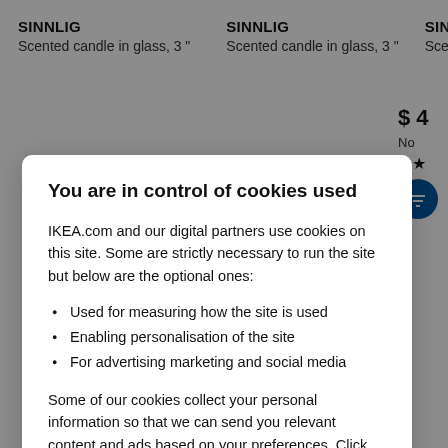SINNLIG Scented candle in glass, 3 "
SINNLIG Scented candle in glass, 3 "
You are in control of cookies used
IKEA.com and our digital partners use cookies on this site. Some are strictly necessary to run the site but below are the optional ones:
Used for measuring how the site is used
Enabling personalisation of the site
For advertising marketing and social media
Some of our cookies collect your personal information so that we can send you relevant content and ads based on your preferences. Click on Cookie Settings to update these.
Ok
Cookies Settings